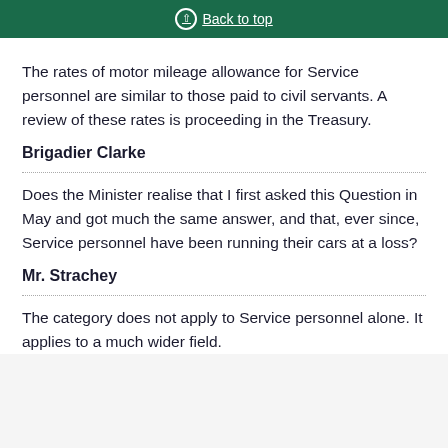Back to top
The rates of motor mileage allowance for Service personnel are similar to those paid to civil servants. A review of these rates is proceeding in the Treasury.
Brigadier Clarke
Does the Minister realise that I first asked this Question in May and got much the same answer, and that, ever since, Service personnel have been running their cars at a loss?
Mr. Strachey
The category does not apply to Service personnel alone. It applies to a much wider field.